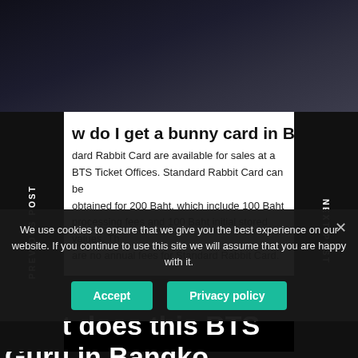[Figure (photo): Dark background image at top of webpage screenshot]
w do I get a bunny card in Bangkok?
dard Rabbit Card are available for sales at all BTS Ticket Offices. Standard Rabbit Card can be obtained for 200 Baht, which include 100 Baht processing fees and 100 Baht initial stored values. There are no annual fees for Standard Rabbit Card.
PREVIOUS POST
NEXT POST
We use cookies to ensure that we give you the best experience on our website. If you continue to use this site we will assume that you are happy with it.
Accept
Privacy policy
What does this BTS Guru in Bangkok?